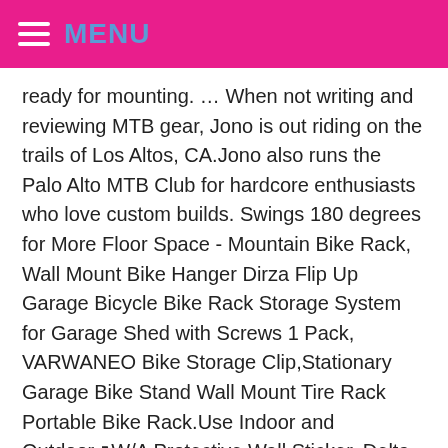MENU
ready for mounting. … When not writing and reviewing MTB gear, Jono is out riding on the trails of Los Altos, CA.Jono also runs the Palo Alto MTB Club for hardcore enthusiasts who love custom builds. Swings 180 degrees for More Floor Space - Mountain Bike Rack, Wall Mount Bike Hanger Dirza Flip Up Garage Bicycle Bike Rack Storage System for Garage Shed with Screws 1 Pack, VARWANEO Bike Storage Clip,Stationary Garage Bike Stand Wall Mount Tire Rack Portable Bike Rack.Use Indoor and Outdoor W/A Protective Wall Sticker, Delta Cycle Leonardo Da Vinci Single Bike Storage Rack Hook Hanger for Vertical Indoor Garage, Auwey Bike Wall Mount Hook Rack Holder Bicycle Hanger Storage Vertical Bike Hook for Indoor Shed, Heavy Duty Holds up to 66lb, SMALLRT 4 Pack Garage Bike Rack Wall Mount Bike Hook Bicycle Hanger Storage System Vertical Hanging for Indoor Shed Easily Hang Heavy Duty 66 lbs for Road Mountain Hybrid Bikes with 4 Rack Straps, Feedback Sports Velo Wall 2D Bike Storage Display Rack (Black), TPSHKE Wall Mount Bike Storage Rack for Garage, for 6 Bicycles +4 HelmetsVertical